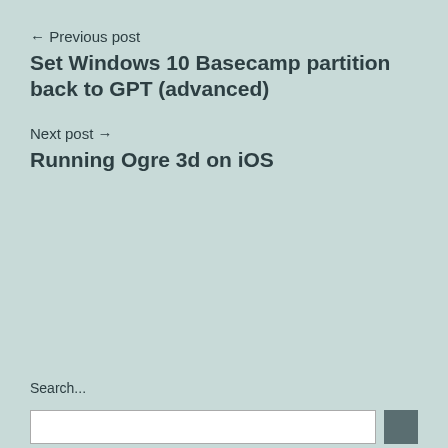← Previous post
Set Windows 10 Basecamp partition back to GPT (advanced)
Next post →
Running Ogre 3d on iOS
Search...